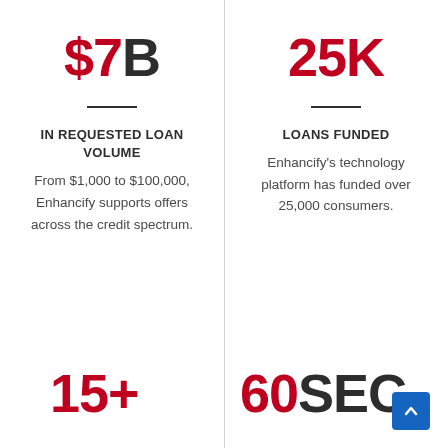$7B
IN REQUESTED LOAN VOLUME
From $1,000 to $100,000, Enhancify supports offers across the credit spectrum.
25K
LOANS FUNDED
Enhancify's technology platform has funded over 25,000 consumers.
15+
60SEC